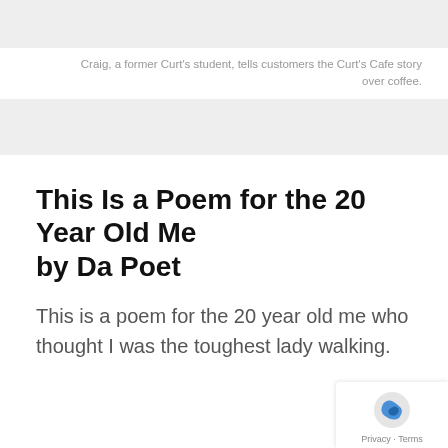[Figure (photo): Gray placeholder image at the top of the page]
Craig, a former Curt's student, tells customers the Curt's Cafe story over coffee.
[Figure (photo): Gray placeholder image below the caption]
This Is a Poem for the 20 Year Old Me
by Da Poet
This is a poem for the 20 year old me who thought I was the toughest lady walking.